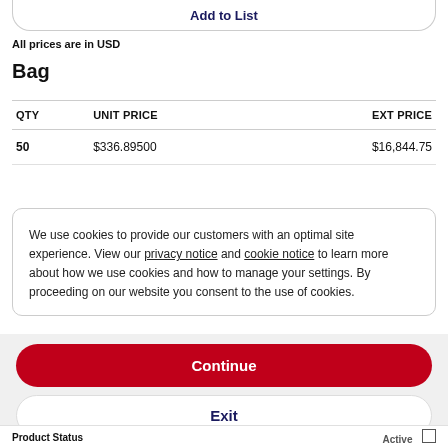Add to List
All prices are in USD
Bag
| QTY | UNIT PRICE | EXT PRICE |
| --- | --- | --- |
| 50 | $336.89500 | $16,844.75 |
We use cookies to provide our customers with an optimal site experience. View our privacy notice and cookie notice to learn more about how we use cookies and how to manage your settings. By proceeding on our website you consent to the use of cookies.
Continue
Exit
Privacy Notice
Product Status   Active